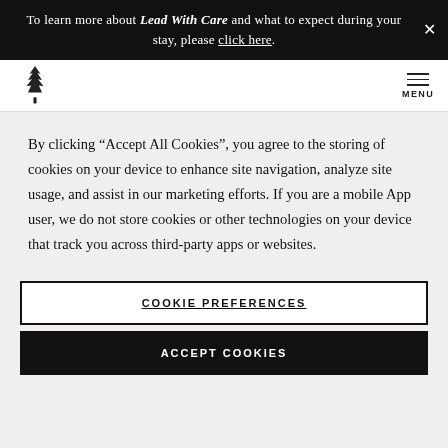To learn more about Lead With Care and what to expect during your stay, please click here.
[Figure (logo): Tree/pine logo icon and MENU navigation header]
By clicking “Accept All Cookies”, you agree to the storing of cookies on your device to enhance site navigation, analyze site usage, and assist in our marketing efforts. If you are a mobile App user, we do not store cookies or other technologies on your device that track you across third-party apps or websites.
COOKIE PREFERENCES
ACCEPT COOKIES